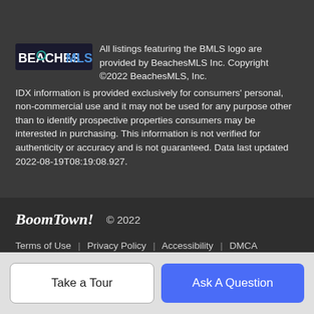[Figure (logo): BeachesMLS logo — dark teal and blue text on dark background]
All listings featuring the BMLS logo are provided by BeachesMLS Inc. Copyright ©2022 BeachesMLS, Inc.
IDX information is provided exclusively for consumers' personal, non-commercial use and it may not be used for any purpose other than to identify prospective properties consumers may be interested in purchasing. This information is not verified for authenticity or accuracy and is not guaranteed. Data last updated 2022-08-19T08:19:08.927.
[Figure (logo): BoomTown! logo in bold italic white text]
© 2022
Terms of Use  |  Privacy Policy  |  Accessibility  |  DMCA  |  Listings Sitemap
Take a Tour
Ask A Question